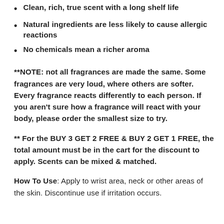Clean, rich, true scent with a long shelf life
Natural ingredients are less likely to cause allergic reactions
No chemicals mean a richer aroma
**NOTE: not all fragrances are made the same. Some fragrances are very loud, where others are softer. Every fragrance reacts differently to each person. If you aren't sure how a fragrance will react with your body, please order the smallest size to try.
** For the BUY 3 GET 2 FREE & BUY 2 GET 1 FREE, the total amount must be in the cart for the discount to apply. Scents can be mixed & matched.
How To Use: Apply to wrist area, neck or other areas of the skin. Discontinue use if irritation occurs.